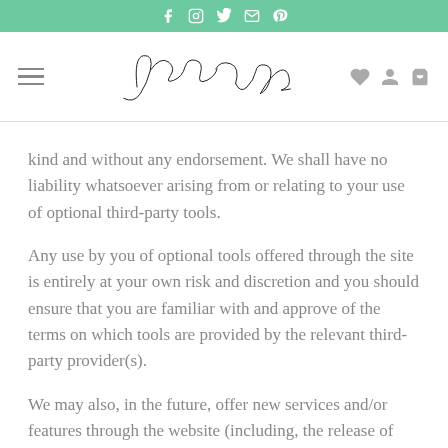Social media icon bar with Facebook, Instagram, Twitter, Email, Pinterest
[Figure (logo): JordanM cursive signature logo with hamburger menu, heart, user, and cart icons]
kind and without any endorsement. We shall have no liability whatsoever arising from or relating to your use of optional third-party tools.
Any use by you of optional tools offered through the site is entirely at your own risk and discretion and you should ensure that you are familiar with and approve of the terms on which tools are provided by the relevant third-party provider(s).
We may also, in the future, offer new services and/or features through the website (including, the release of new tools and resources). Such new features